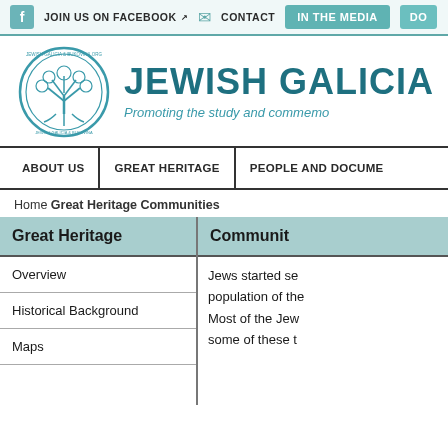JOIN US ON FACEBOOK | CONTACT | IN THE MEDIA | DO
[Figure (logo): Jewish Galicia & Bukovina circular seal logo with tree illustration]
JEWISH GALICIA
Promoting the study and commemо...
ABOUT US | GREAT HERITAGE | PEOPLE AND DOCUME...
Home Great Heritage Communities
Great Heritage
Overview
Historical Background
Maps
Communiti...
Jews started se... population of the... Most of the Jew... some of these t...